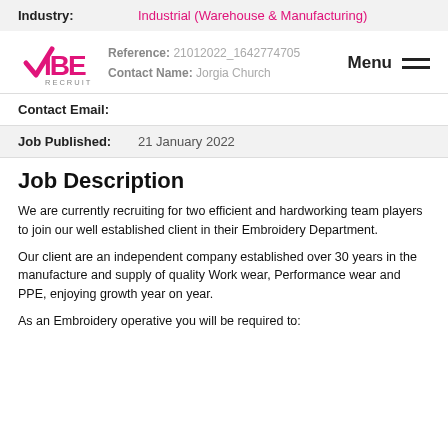Industry: Industrial (Warehouse & Manufacturing)
[Figure (logo): VIBE RECRUIT logo with pink checkmark]
Reference: 21012022_1642774705
Menu
Contact Name: Jorgia Church
Contact Email:
Job Published: 21 January 2022
Job Description
We are currently recruiting for two efficient and hardworking team players to join our well established client in their Embroidery Department.
Our client are an independent company established over 30 years in the manufacture and supply of quality Work wear, Performance wear and PPE, enjoying growth year on year.
As an Embroidery operative you will be required to: